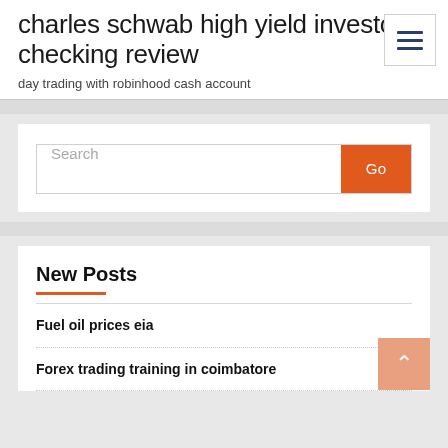charles schwab high yield investor checking review
day trading with robinhood cash account
[Figure (screenshot): Hamburger menu button icon with three horizontal lines]
[Figure (screenshot): Search input bar with placeholder text 'Search' and orange 'Go' button]
New Posts
Fuel oil prices eia
Forex trading training in coimbatore